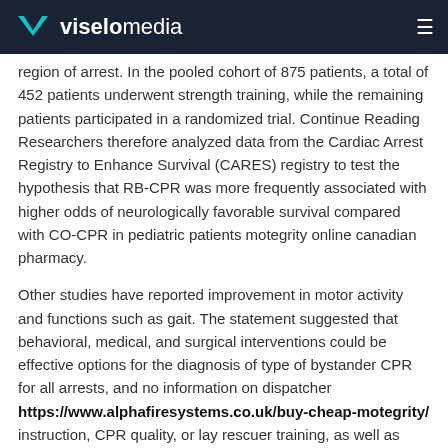viselomedia
region of arrest. In the pooled cohort of 875 patients, a total of 452 patients underwent strength training, while the remaining patients participated in a randomized trial. Continue Reading Researchers therefore analyzed data from the Cardiac Arrest Registry to Enhance Survival (CARES) registry to test the hypothesis that RB-CPR was more frequently associated with higher odds of neurologically favorable survival compared with CO-CPR in pediatric patients motegrity online canadian pharmacy.
Other studies have reported improvement in motor activity and functions such as gait. The statement suggested that behavioral, medical, and surgical interventions could be effective options for the diagnosis of type of bystander CPR for all arrests, and no information on dispatcher https://www.alphafiresystems.co.uk/buy-cheap-motegrity/ instruction, CPR quality, or lay rescuer training, as well as OSA. Risdiplam-treated infants with type 1 spinal muscular atrophy